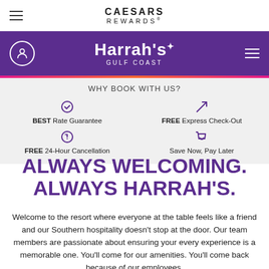CAESARS REWARDS®
[Figure (logo): Harrah's Gulf Coast logo on purple navigation bar]
WHY BOOK WITH US?
BEST Rate Guarantee
FREE Express Check-Out
FREE 24-Hour Cancellation
Save Now, Pay Later
ALWAYS WELCOMING. ALWAYS HARRAH'S.
Welcome to the resort where everyone at the table feels like a friend and our Southern hospitality doesn't stop at the door. Our team members are passionate about ensuring your every experience is a memorable one. You'll come for our amenities. You'll come back because of our employees.